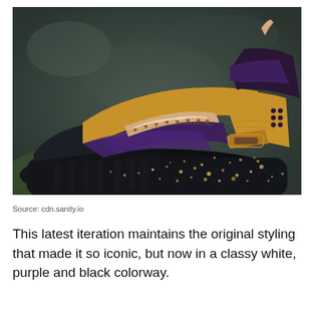[Figure (photo): Close-up photograph of a Nike Air Huarache sneaker with gold/tan upper, dark purple accents, black sole with gold speckle paint splatter pattern, set against a blurred dark background with leaves.]
Source: cdn.sanity.io
This latest iteration maintains the original styling that made it so iconic, but now in a classy white, purple and black colorway.